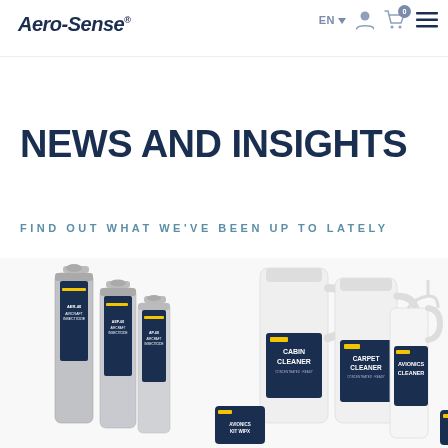Aero-Sense® | EN | (user icon) | (cart icon) 0 | (menu icon)
NEWS AND INSIGHTS
FIND OUT WHAT WE'VE BEEN UP TO LATELY
[Figure (photo): Two groups of Aero-Sense aviation cleaning products: left group shows grey aerosol spray cans (aircraft insecticide), right group shows white plastic jugs and spray bottles with dark labels (Cabin Cleaner, Carpet Cleaner, Avionics Cleaner)]